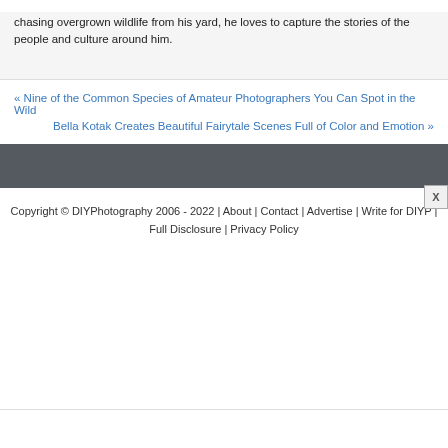chasing overgrown wildlife from his yard, he loves to capture the stories of the people and culture around him.
« Nine of the Common Species of Amateur Photographers You Can Spot in the Wild
Bella Kotak Creates Beautiful Fairytale Scenes Full of Color and Emotion »
Copyright © DIYPhotography 2006 - 2022 | About | Contact | Advertise | Write for DIYP | Full Disclosure | Privacy Policy